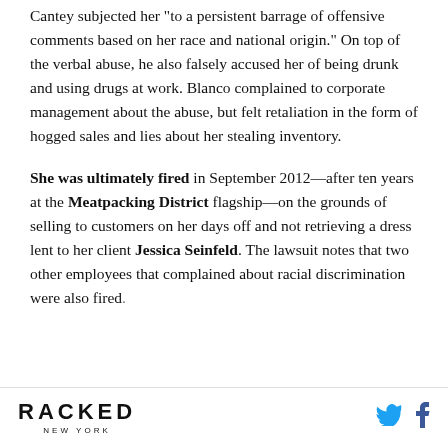She claimed that her boss, retail sales manager Weal Cantey subjected her "to a persistent barrage of offensive comments based on her race and national origin." On top of the verbal abuse, he also falsely accused her of being drunk and using drugs at work. Blanco complained to corporate management about the abuse, but felt retaliation in the form of hogged sales and lies about her stealing inventory.
She was ultimately fired in September 2012—after ten years at the Meatpacking District flagship—on the grounds of selling to customers on her days off and not retrieving a dress lent to her client Jessica Seinfeld. The lawsuit notes that two other employees that complained about racial discrimination were also fired.
RACKED NEW YORK